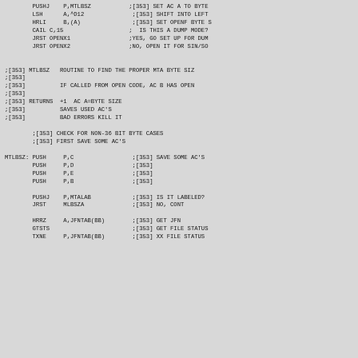PUSHJ    P,MTLBSZ           ;[353] SET AC A TO BYTE
        LSH      A,^D12              ;[353] SHIFT INTO LEFT
        HRLI     B,(A)               ;[353] SET OPENF BYTE S
        CAIL C,15                   ;  IS THIS A DUMP MODE?
        JRST OPENX1                 ;YES, GO SET UP FOR DUM
        JRST OPENX2                 ;NO, OPEN IT FOR SIN/SO


;[353] MTLBSZ   ROUTINE TO FIND THE PROPER MTA BYTE SIZ
;[353]
;[353]          IF CALLED FROM OPEN CODE, AC B HAS OPEN
;[353]
;[353] RETURNS  +1  AC A=BYTE SIZE
;[353]          SAVES USED AC'S
;[353]          BAD ERRORS KILL IT

        ;[353] CHECK FOR NON-36 BIT BYTE CASES
        ;[353] FIRST SAVE SOME AC'S

MTLBSZ: PUSH     P,C                 ;[353] SAVE SOME AC'S
        PUSH     P,D                 ;[353]
        PUSH     P,E                 ;[353]
        PUSH     P,B                 ;[353]

        PUSHJ    P,MTALAB            ;[353] IS IT LABELED?
        JRST     MLBSZA              ;[353] NO, CONT

        HRRZ     A,JFNTAB(BB)        ;[353] GET JFN
        GTSTS                        ;[353] GET FILE STATUS
        TXNE     P,JFNTAB(BB)        ;[353] XX FILE STATUS